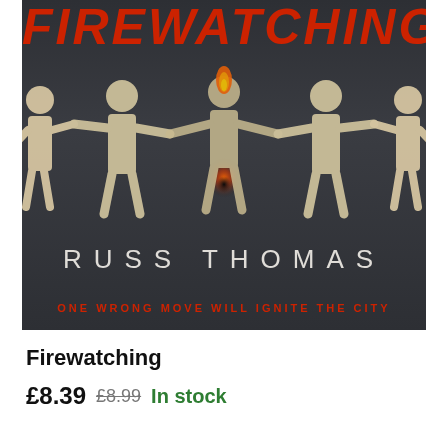[Figure (photo): Book cover of 'Firewatching' by Russ Thomas. Dark grey/charcoal background with paper chain figures of people holding hands. The central figure has a burning flame/match at its head. Title 'FIREWATCHING' appears in large red italic text at top. Author name 'RUSS THOMAS' in white spaced capitals below the figures. Tagline 'ONE WRONG MOVE WILL IGNITE THE CITY' in red at bottom.]
Firewatching
£8.39  £8.99  In stock